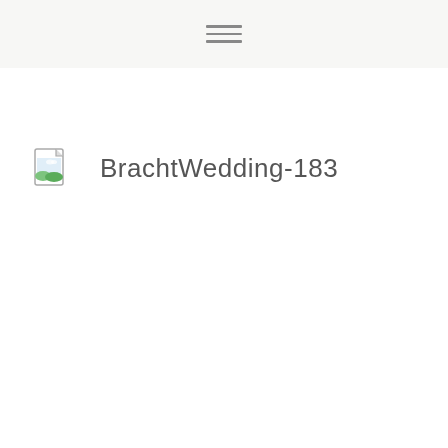≡
BrachtWedding-183
BrachtWedding-190